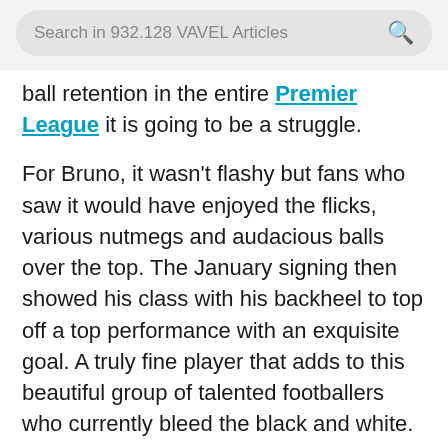Search in 932.128 VAVEL Articles
ball retention in the entire Premier League it is going to be a struggle.
For Bruno, it wasn't flashy but fans who saw it would have enjoyed the flicks, various nutmegs and audacious balls over the top. The January signing then showed his class with his backheel to top off a top performance with an exquisite goal. A truly fine player that adds to this beautiful group of talented footballers who currently bleed the black and white.
The manager of the month